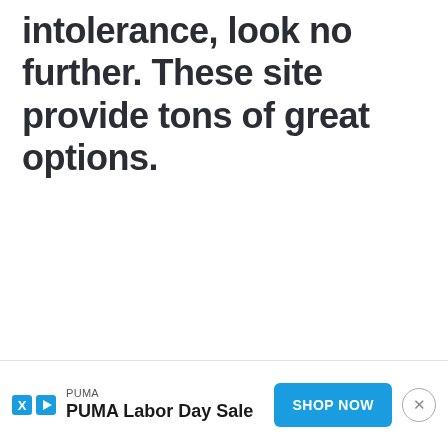intolerance, look no further. These site provide tons of great options.
[Figure (screenshot): Advertisement banner for PUMA Labor Day Sale with SHOP NOW button and close button]